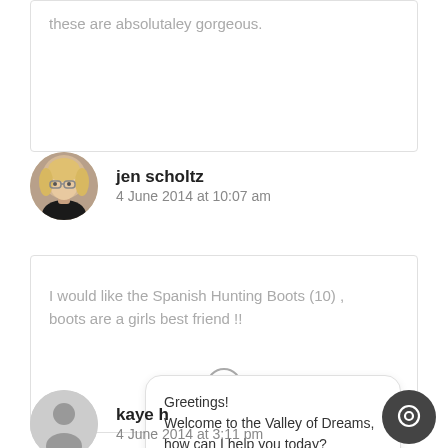these are absolutaley gorgeous.
jen scholtz
4 June 2014 at 10:07 am
I would like the Spanish Hunting Boots (10) , boots are a girls best friend !!
[Figure (other): Close/cancel button circle with X]
Greetings! Welcome to the Valley of Dreams, how can I help you today?
kaye h
4 June 2014 at 3:11 pm